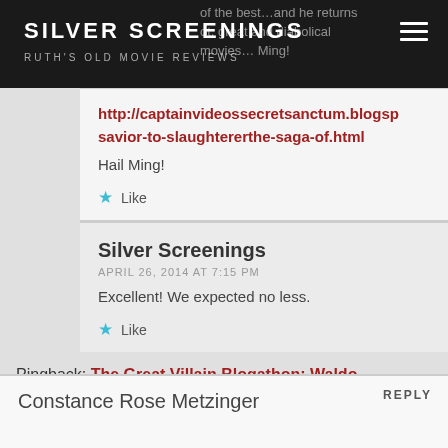SILVER SCREENINGS
RUTH'S OLD MOVIE REVIEWS
http://captainvideossecretsanctum.blogsp savior-to-slaughtererthe-saga-of.html
Hail Ming!
Like
Silver Screenings
APRIL 26, 2014 AT 7:15 PM
Excellent! We expected no less.
Like
Pingback: The Great Villain Blogathon: Waldo Lydecker, Laura, 1944 | MOON IN GEMINI
REPLY
Constance Rose Metzinger